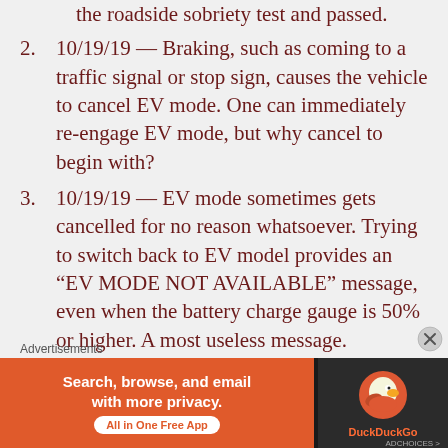the roadside sobriety test and passed.
10/19/19 — Braking, such as coming to a traffic signal or stop sign, causes the vehicle to cancel EV mode. One can immediately re-engage EV mode, but why cancel to begin with?
10/19/19 — EV mode sometimes gets cancelled for no reason whatsoever. Trying to switch back to EV model provides an “EV MODE NOT AVAILABLE” message, even when the battery charge gauge is 50% or higher. A most useless message.
10/19/19 — EV mode was not available
[Figure (infographic): DuckDuckGo advertisement banner: orange background with text 'Search, browse, and email with more privacy. All in One Free App' and DuckDuckGo duck logo on dark background]